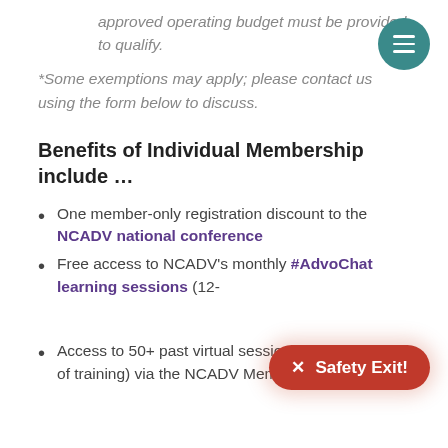approved operating budget must be provided to qualify.
*Some exemptions may apply; please contact us using the form below to discuss.
Benefits of Individual Membership include …
One member-only registration discount to the NCADV national conference
Free access to NCADV's monthly #AdvoChat learning sessions (12-
Access to 50+ past virtual sessions (over 75 hours of training) via the NCADV Member Library